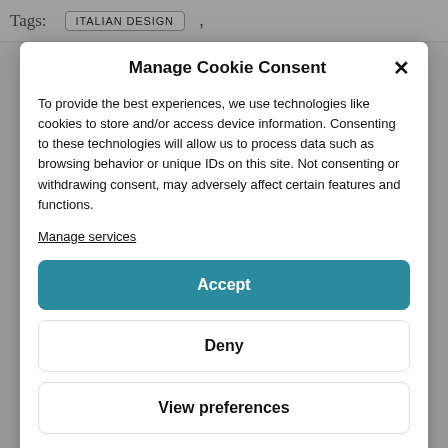Tags: ITALIAN DESIGN ,
Manage Cookie Consent
To provide the best experiences, we use technologies like cookies to store and/or access device information. Consenting to these technologies will allow us to process data such as browsing behavior or unique IDs on this site. Not consenting or withdrawing consent, may adversely affect certain features and functions.
Manage services
Accept
Deny
View preferences
Cookie Policy   Privacy Policy – Terms of Service